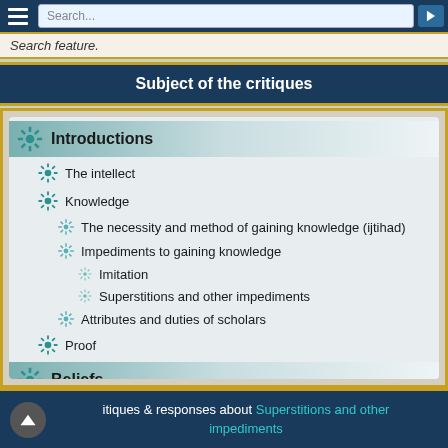Search...
Search feature.
Subject of the critiques
Introductions
The intellect
Knowledge
The necessity and method of gaining knowledge (ijtihad)
Impediments to gaining knowledge
Imitation
Superstitions and other impediments
Attributes and duties of scholars
Proof
Beliefs
Rulings
Critiques & responses about Superstitions and other impediments